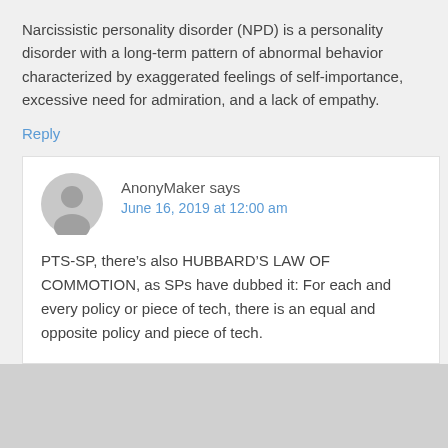Narcissistic personality disorder (NPD) is a personality disorder with a long-term pattern of abnormal behavior characterized by exaggerated feelings of self-importance, excessive need for admiration, and a lack of empathy.
Reply
AnonyMaker says
June 16, 2019 at 12:00 am
PTS-SP, there’s also HUBBARD’S LAW OF COMMOTION, as SPs have dubbed it: For each and every policy or piece of tech, there is an equal and opposite policy and piece of tech.